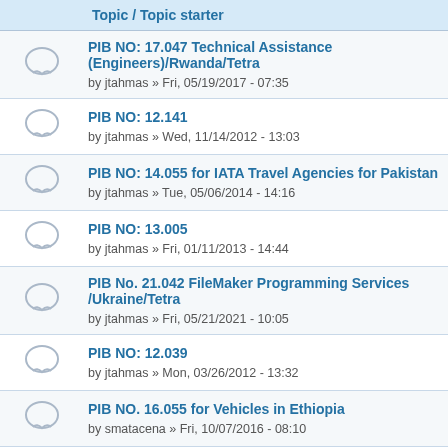|  | Topic / Topic starter |
| --- | --- |
| [icon] | PIB NO: 17.047 Technical Assistance (Engineers)/Rwanda/Tetra
by jtahmas » Fri, 05/19/2017 - 07:35 |
| [icon] | PIB NO: 12.141
by jtahmas » Wed, 11/14/2012 - 13:03 |
| [icon] | PIB NO: 14.055 for IATA Travel Agencies for Pakistan
by jtahmas » Tue, 05/06/2014 - 14:16 |
| [icon] | PIB NO: 13.005
by jtahmas » Fri, 01/11/2013 - 14:44 |
| [icon] | PIB No. 21.042 FileMaker Programming Services /Ukraine/Tetra
by jtahmas » Fri, 05/21/2021 - 10:05 |
| [icon] | PIB NO: 12.039
by jtahmas » Mon, 03/26/2012 - 13:32 |
| [icon] | PIB NO. 16.055 for Vehicles in Ethiopia
by smatacena » Fri, 10/07/2016 - 08:10 |